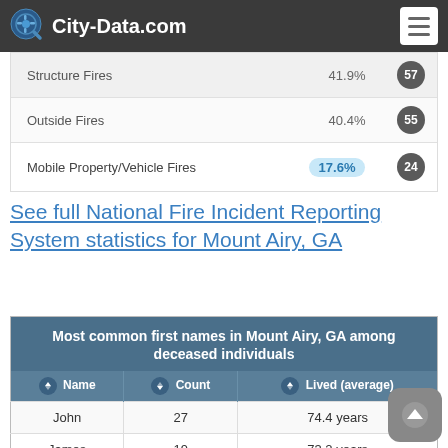City-Data.com
| Fire Type | Percent | Count |
| --- | --- | --- |
| Structure Fires | 41.9% | 57 |
| Outside Fires | 40.4% | 55 |
| Mobile Property/Vehicle Fires | 17.6% | 24 |
See full National Fire Incident Reporting System statistics for Mount Airy, GA
| Name | Count | Lived (average) |
| --- | --- | --- |
| John | 27 | 74.4 years |
| James | 19 | 73.2 years |
| William | 14 | 75.7 years |
| Mary | 13 | 75.6 years |